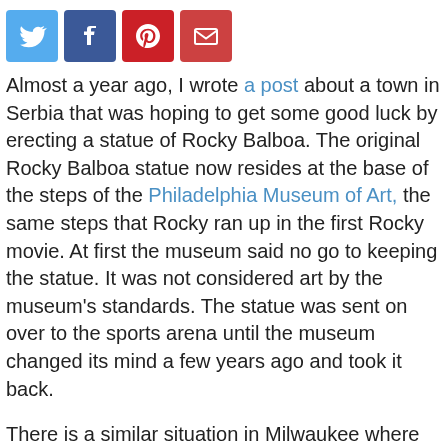[Figure (other): Social media sharing icons: Twitter (blue bird), Facebook (white f on blue), Pinterest (white P on red), Email (white envelope on red)]
Almost a year ago, I wrote a post about a town in Serbia that was hoping to get some good luck by erecting a statue of Rocky Balboa. The original Rocky Balboa statue now resides at the base of the steps of the Philadelphia Museum of Art, the same steps that Rocky ran up in the first Rocky movie. At first the museum said no go to keeping the statue. It was not considered art by the museum's standards. The statue was sent on over to the sports arena until the museum changed its mind a few years ago and took it back.
There is a similar situation in Milwaukee where statues pop art has created a difference of opinion and a pop culture icon will permanently represent the city. A group has raised enough funds through "Bronze the Fonz" for a bronze statue of Fonzie from the TV show Happy Days. Happy Days was set in Milwaukee so these folks want to do something to honor the notoriety. Fonzie was picked to be the Happy Days icon since